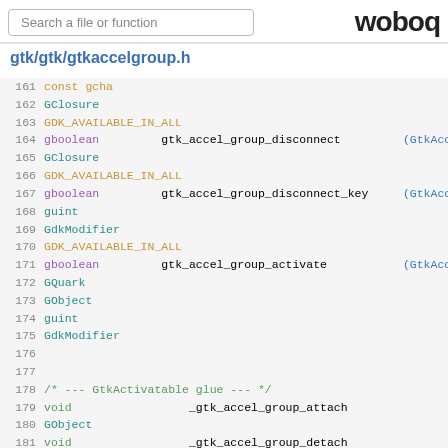gtk/gtk/gtkaccelgroup.h
Code listing lines 161-186 from gtkaccelgroup.h showing GDK_AVAILABLE_IN_ALL macros and function declarations including gtk_accel_group_disconnect, gtk_accel_group_disconnect_key, gtk_accel_group_activate, _gtk_accel_group_attach, _gtk_accel_group_detach, gtk_accel_groups_activate